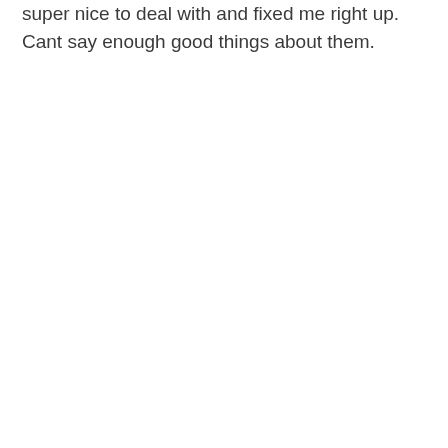super nice to deal with and fixed me right up. Cant say enough good things about them.